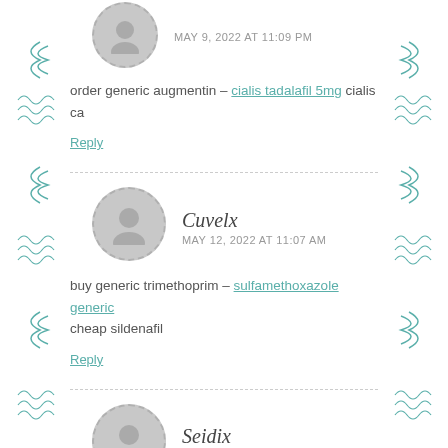[Figure (illustration): Decorative teal leaf/wave border patterns on left and right sides of page]
MAY 9, 2022 AT 11:09 PM
order generic augmentin – cialis tadalafil 5mg cialis ca
Reply
Cuvelx
MAY 12, 2022 AT 11:07 AM
buy generic trimethoprim – sulfamethoxazole generic cheap sildenafil
Reply
Seidix
MAY 14, 2022 AT 6:44 PM